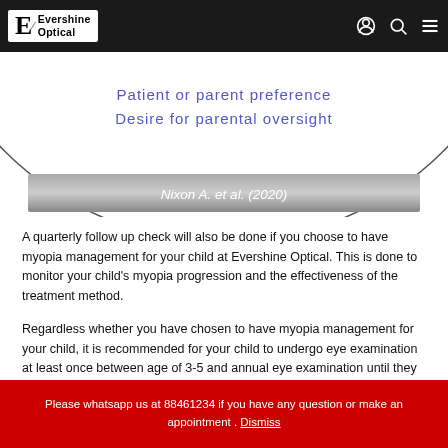Evershine Optical
[Figure (illustration): Diagram showing bottom portion of a circle/oval with text labels 'Patient or parent preference' and 'Desire for parental oversight' in blue-purple text, and a grey gradient banner at the bottom reading 'Nixon A. et al. (2020)']
A quarterly follow up check will also be done if you choose to have myopia management for your child at Evershine Optical. This is done to monitor your child's myopia progression and the effectiveness of the treatment method.
Regardless whether you have chosen to have myopia management for your child, it is recommended for your child to undergo eye examination at least once between age of 3-5 and annual eye examination until they are 18 years old.
Please whatsapp us at 88461234 if you have any question or make an appointment . Dismiss